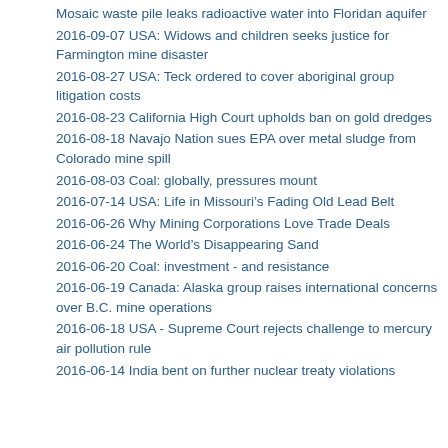Mosaic waste pile leaks radioactive water into Floridan aquifer
2016-09-07 USA: Widows and children seeks justice for Farmington mine disaster
2016-08-27 USA: Teck ordered to cover aboriginal group litigation costs
2016-08-23 California High Court upholds ban on gold dredges
2016-08-18 Navajo Nation sues EPA over metal sludge from Colorado mine spill
2016-08-03 Coal: globally, pressures mount
2016-07-14 USA: Life in Missouri’s Fading Old Lead Belt
2016-06-26 Why Mining Corporations Love Trade Deals
2016-06-24 The World’s Disappearing Sand
2016-06-20 Coal: investment - and resistance
2016-06-19 Canada: Alaska group raises international concerns over B.C. mine operations
2016-06-18 USA - Supreme Court rejects challenge to mercury air pollution rule
2016-06-14 India bent on further nuclear treaty violations